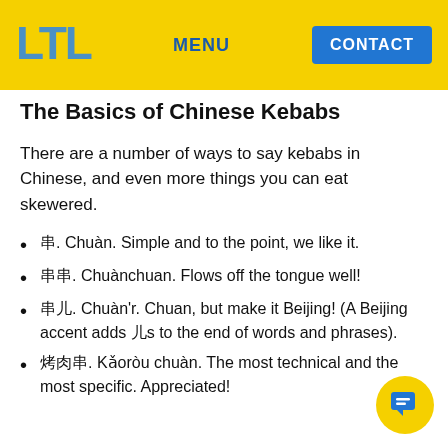LTL  MENU  CONTACT
The Basics of Chinese Kebabs
There are a number of ways to say kebabs in Chinese, and even more things you can eat skewered.
串. Chuàn. Simple and to the point, we like it.
串串. Chuànchuan. Flows off the tongue well!
串儿. Chuàn'r. Chuan, but make it Beijing! (A Beijing accent adds 儿s to the end of words and phrases).
烤肉串. Kǎoròu chuàn. The most technical and most specific. Appreciated!